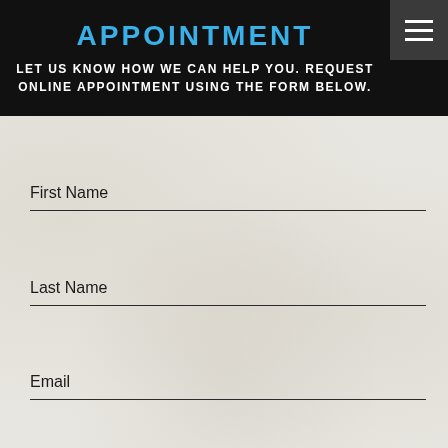APPOINTMENT
LET US KNOW HOW WE CAN HELP YOU. REQUEST ONLINE APPOINTMENT USING THE FORM BELOW.
First Name
Last Name
Email
Phone